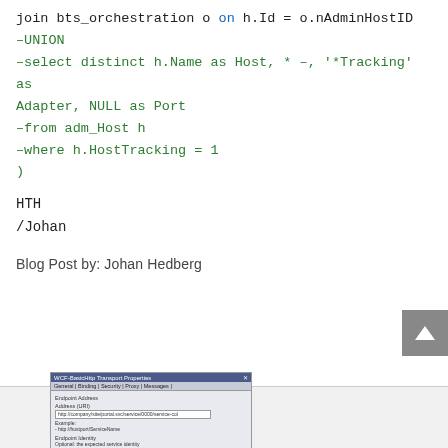join bts_orchestration o on h.Id = o.nAdminHostID
–UNION
–select distinct h.Name as Host, * –, '*Tracking' as Adapter, NULL as Port
–from adm_Host h
–where h.HostTracking = 1
)
HTH
/Johan
Blog Post by: Johan Hedberg
[Figure (screenshot): WCF-BasicHttp Transport Properties dialog box showing Endpoint Address field with a URL entered, Example field, Endpoint Identity section with optional field, and an Edit button.]